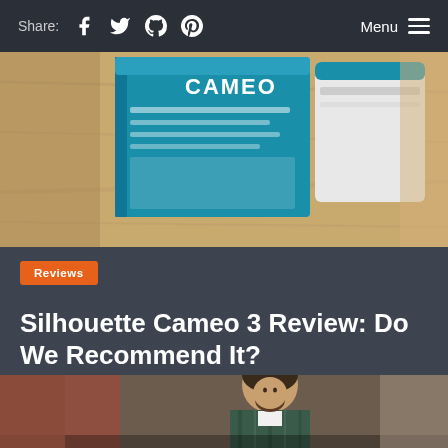Share: [facebook] [twitter] [pinterest]   Menu
[Figure (photo): A Silhouette Cameo 3 product box on a wooden surface with the white cutting machine visible behind it]
Reviews
Silhouette Cameo 3 Review: Do We Recommend It?
October 4, 2019
[Figure (photo): A bearded man in a plaid shirt looking down at something on a table in a workshop setting]